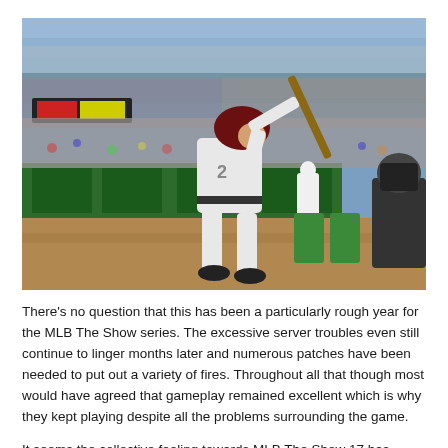[Figure (photo): A baseball player in a white uniform with a dark helmet swinging a bat at home plate in a packed stadium. A catcher in dark uniform is visible on the right. Another player stands in the background near green outfield walls. Stadium crowd fills the background.]
There's no question that this has been a particularly rough year for the MLB The Show series. The excessive server troubles even still continue to linger months later and numerous patches have been needed to put out a variety of fires. Throughout all that though most would have agreed that gameplay remained excellent which is why they kept playing despite all the problems surrounding the game.
It seems the collective feeling towards MLB The Show 17 has shifted